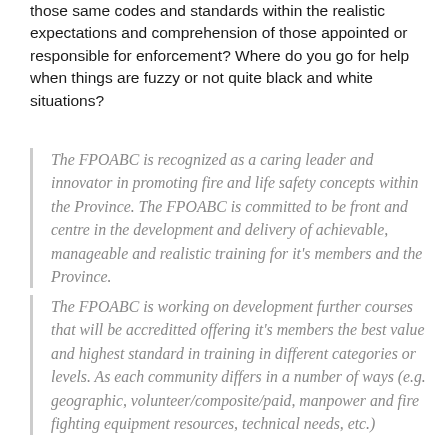those same codes and standards within the realistic expectations and comprehension of those appointed or responsible for enforcement? Where do you go for help when things are fuzzy or not quite black and white situations?
The FPOABC is recognized as a caring leader and innovator in promoting fire and life safety concepts within the Province. The FPOABC is committed to be front and centre in the development and delivery of achievable, manageable and realistic training for it's members and the Province.
The FPOABC is working on development further courses that will be accreditted offering it's members the best value and highest standard in training in different categories or levels. As each community differs in a number of ways (e.g. geographic, volunteer/composite/paid, manpower and fire fighting equipment resources, technical needs, etc.)